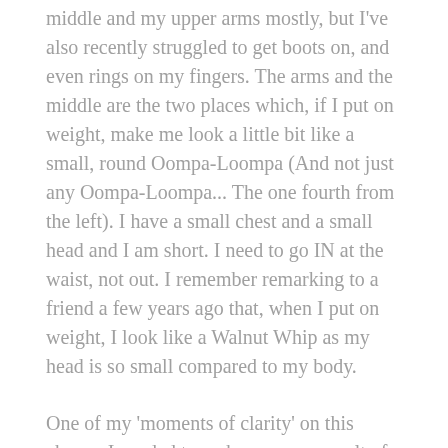middle and my upper arms mostly, but I've also recently struggled to get boots on, and even rings on my fingers. The arms and the middle are the two places which, if I put on weight, make me look a little bit like a small, round Oompa-Loompa (And not just any Oompa-Loompa... The one fourth from the left). I have a small chest and a small head and I am short. I need to go IN at the waist, not out. I remember remarking to a friend a few years ago that, when I put on weight, I look like a Walnut Whip as my head is so small compared to my body.
One of my 'moments of clarity' on this change I needed to make was as a result of a conversation with my mum. I was telling her how much I weighed and how much I wanted to lose, and she said to me; 'Think of all that extra weight you're carrying. It's like